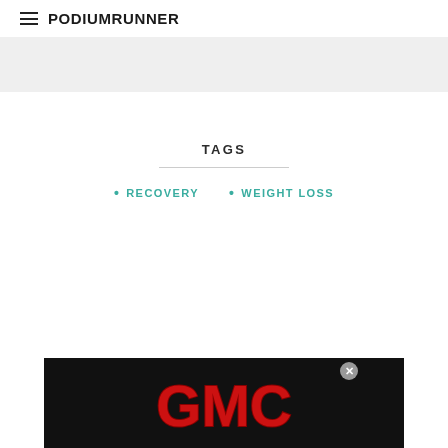PodiumRunner
[Figure (other): Gray advertisement banner placeholder at top of page]
TAGS
RECOVERY
WEIGHT LOSS
[Figure (other): GMC advertisement banner at bottom of page with red GMC logo on black background and close button]